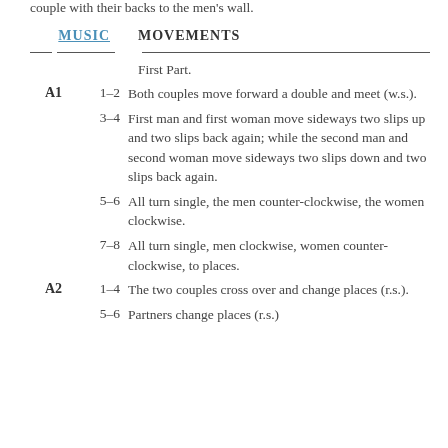couple with their backs to the men's wall.
|  | MUSIC | MOVEMENTS |
| --- | --- | --- |
|  |  | First Part. |
| A1 | 1–2 | Both couples move forward a double and meet (w.s.). |
|  | 3–4 | First man and first woman move sideways two slips up and two slips back again; while the second man and second woman move sideways two slips down and two slips back again. |
|  | 5–6 | All turn single, the men counter-clockwise, the women clockwise. |
|  | 7–8 | All turn single, men clockwise, women counter-clockwise, to places. |
| A2 | 1–4 | The two couples cross over and change places (r.s.). |
|  | 5–6 | Partners change places (r.s.) |